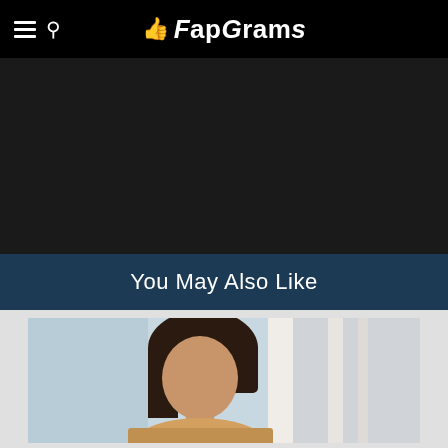FapGrams
[Figure (photo): Dark/black area representing a video or image content area]
You May Also Like
[Figure (photo): Thumbnail image showing a person with dark hair in an indoor setting]